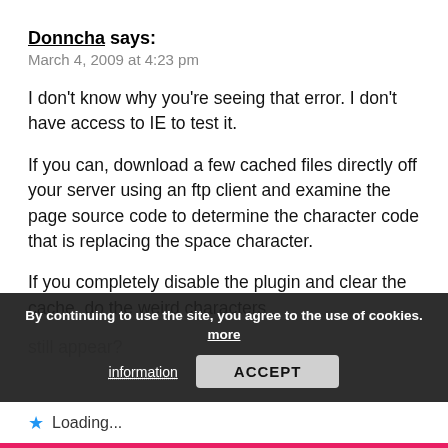Donncha says:
March 4, 2009 at 4:23 pm
I don't know why you're seeing that error. I don't have access to IE to test it.
If you can, download a few cached files directly off your server using an ftp client and examine the page source code to determine the character code that is replacing the space character.
If you completely disable the plugin and clear the cache, do the weird characters still appear?
By continuing to use the site, you agree to the use of cookies. more information
ACCEPT
Loading...